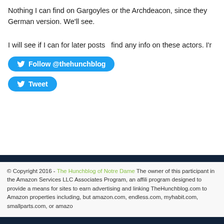Nothing I can find on Gargoyles or the Archdeacon, since they German version. We'll see.
I will see if I can for later posts  find any info on these actors. I'r
[Figure (other): Twitter Follow @thehunchblog button (blue rounded pill)]
[Figure (other): Twitter Tweet button (blue rounded pill)]
© Copyright 2016 - The Hunchblog of Notre Dame The owner of this participant in the Amazon Services LLC Associates Program, an affili program designed to provide a means for sites to earn advertising and linking TheHunchblog.com to Amazon properties including, but amazon.com, endless.com, myhabit.com, smallparts.com, or amazo